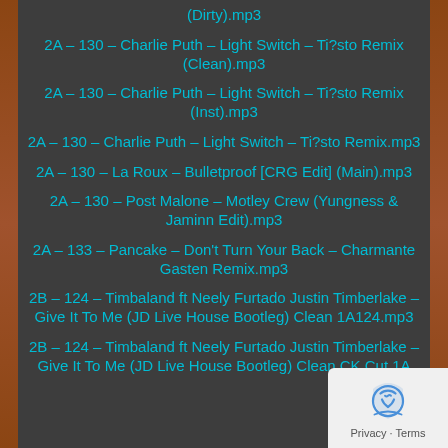(Dirty).mp3
2A – 130 – Charlie Puth – Light Switch – Ti?sto Remix (Clean).mp3
2A – 130 – Charlie Puth – Light Switch – Ti?sto Remix (Inst).mp3
2A – 130 – Charlie Puth – Light Switch – Ti?sto Remix.mp3
2A – 130 – La Roux – Bulletproof [CRG Edit] (Main).mp3
2A – 130 – Post Malone – Motley Crew (Yungness & Jaminn Edit).mp3
2A – 133 – Pancake – Don't Turn Your Back – Charmante Gasten Remix.mp3
2B – 124 – Timbaland ft Neely Furtado Justin Timberlake – Give It To Me (JD Live House Bootleg) Clean 1A124.mp3
2B – 124 – Timbaland ft Neely Furtado Justin Timberlake – Give It To Me (JD Live House Bootleg) Clean CK Cut 1A